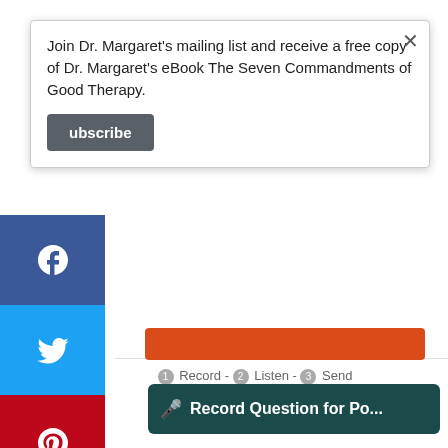Join Dr. Margaret's mailing list and receive a free copy of Dr. Margaret's eBook The Seven Commandments of Good Therapy.
Subscribe
[Figure (screenshot): Social media share buttons on left side: Facebook (blue), Twitter (light blue), Pinterest (red), and more (+) button on grey background]
[Figure (screenshot): SpeakPipe voicemail widget: orange record bar, steps '1 Record - 2 Listen - 3 Send', and footer 'Free voicemail widget by SpeakPipe']
Record Question for Po...